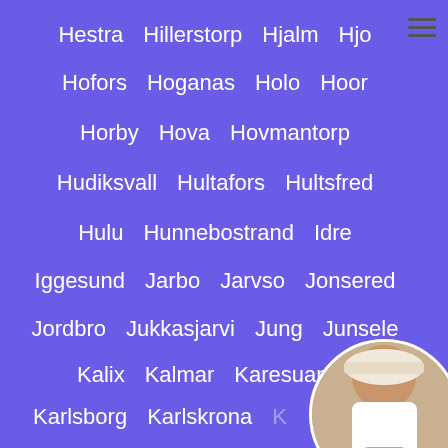Hestra
Hillerstorp
Hjalm
Hjo
Hofors
Hoganas
Holo
Hoor
Horby
Hova
Hovmantorp
Hudiksvall
Hultafors
Hultsfred
Hulu
Hunnebostrand
Idre
Iggesund
Jarbo
Jarvso
Jonsered
Jordbro
Jukkasjarvi
Jung
Junsele
Kalix
Kalmar
Karesuando
Karlsborg
Karlskrona
K...
Kavlinge
Kil
Kiruna
Kladesholmen
Klippan
Klovsjo
[Figure (photo): Circular cropped photo of a woman in a white top and turquoise bottoms, positioned in bottom-right corner]